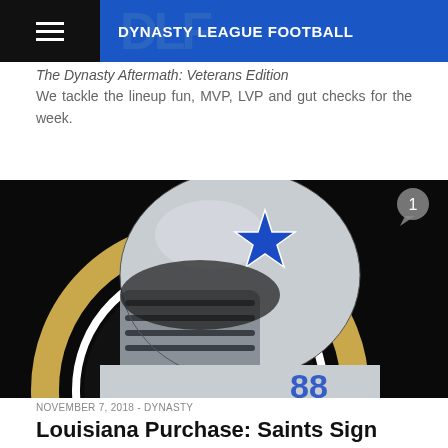DYNASTY LEAGUE FOOTBALL
The Dynasty Aftermath: Veterans Edition
We tackle the lineup fun, MVP, LVP and gut checks for the week.
[Figure (photo): Football player wearing Dallas Cowboys helmet with Saints logo in background, with comment badge showing 1]
NOVEMBER 7, 2018 - DYNASTY
Louisiana Purchase: Saints Sign Dez Bryant
We break down the signing of Dez Bryant in the Big Easy.